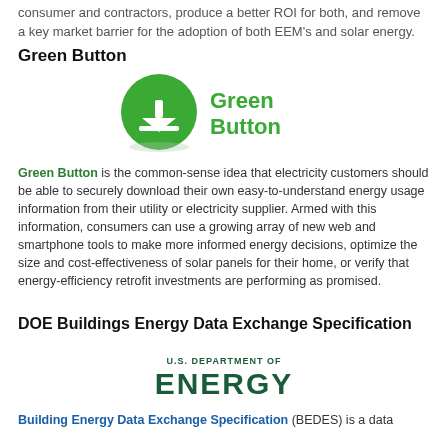consumer and contractors, produce a better ROI for both, and remove a key market barrier for the adoption of both EEM's and solar energy.
Green Button
[Figure (logo): Green Button logo: green circle with white download arrow icon, next to bold green text 'Green Button']
Green Button is the common-sense idea that electricity customers should be able to securely download their own easy-to-understand energy usage information from their utility or electricity supplier. Armed with this information, consumers can use a growing array of new web and smartphone tools to make more informed energy decisions, optimize the size and cost-effectiveness of solar panels for their home, or verify that energy-efficiency retrofit investments are performing as promised.
DOE Buildings Energy Data Exchange Specification
[Figure (logo): U.S. Department of Energy logo: text 'U.S. DEPARTMENT OF' above large bold 'ENERGY' in dark teal/green]
Building Energy Data Exchange Specification (BEDES) is a data